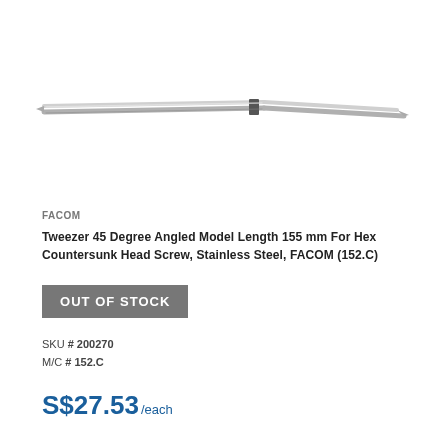[Figure (photo): A stainless steel 45-degree angled tweezer, elongated and slender, shown horizontally against a white background.]
FACOM
Tweezer 45 Degree Angled Model Length 155 mm For Hex Countersunk Head Screw, Stainless Steel, FACOM (152.C)
OUT OF STOCK
SKU # 200270
M/C # 152.C
S$27.53/each